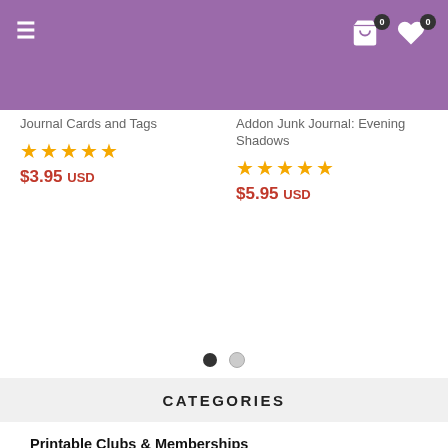Navigation header with hamburger menu and cart/wishlist icons
Journal Cards and Tags
★★★★★ $3.95 USD
Addon Junk Journal: Evening Shadows
★★★★★ $5.95 USD
CATEGORIES
Printable Clubs & Memberships
NEW! in the Store
Printables for Mind Body and Soul
Creative Journaling
Journal Prompts
Gratitude Journaling